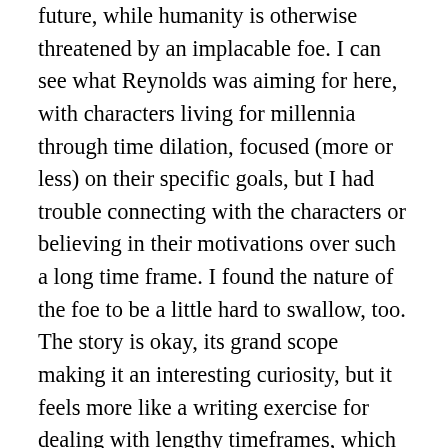future, while humanity is otherwise threatened by an implacable foe. I can see what Reynolds was aiming for here, with characters living for millennia through time dilation, focused (more or less) on their specific goals, but I had trouble connecting with the characters or believing in their motivations over such a long time frame. I found the nature of the foe to be a little hard to swallow, too. The story is okay, its grand scope making it an interesting curiosity, but it feels more like a writing exercise for dealing with lengthy timeframes, which comes into play in the novels. Still, I liked it more than the other story in the collection, “Dilation Sleep”, which is a pretty straightforward “things are not what they seem” yarn. To be fair, Reynolds’ afterward suggests that it was written earlier